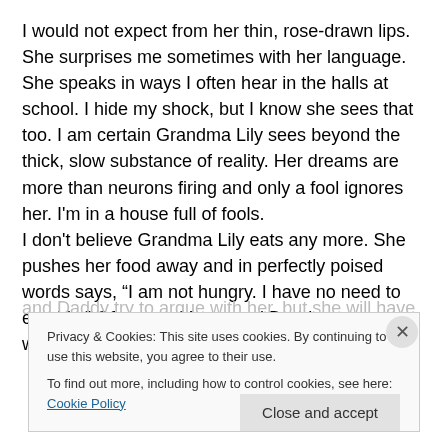I would not expect from her thin, rose-drawn lips.  She surprises me sometimes with her language.  She speaks in ways I often hear in the halls at school.  I hide my shock, but I know she sees that too.  I am certain Grandma Lily sees beyond the thick, slow substance of reality. Her dreams are more than neurons firing and only a fool ignores her.  I'm in a house full of fools.
I don't believe Grandma Lily eats any more.  She pushes her food away and in perfectly poised words says, “I am not hungry.  I have no need to eat this.”  Of course Mama and Daddy try to argue with her, but she will have none of
Privacy & Cookies: This site uses cookies. By continuing to use this website, you agree to their use.
To find out more, including how to control cookies, see here: Cookie Policy